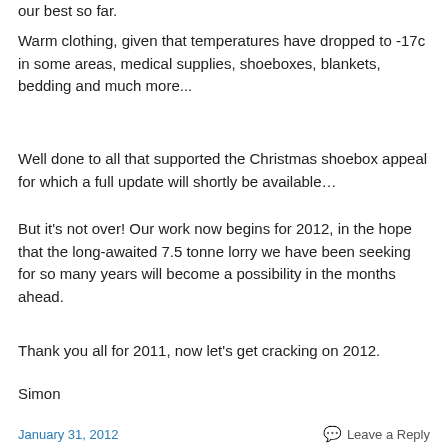our best so far.
Warm clothing, given that temperatures have dropped to -17c in some areas, medical supplies, shoeboxes, blankets, bedding and much more...
Well done to all that supported the Christmas shoebox appeal for which a full update will shortly be available…
But it's not over! Our work now begins for 2012, in the hope that the long-awaited 7.5 tonne lorry we have been seeking for so many years will become a possibility in the months ahead.
Thank you all for 2011, now let's get cracking on 2012.
Simon
January 31, 2012   Leave a Reply